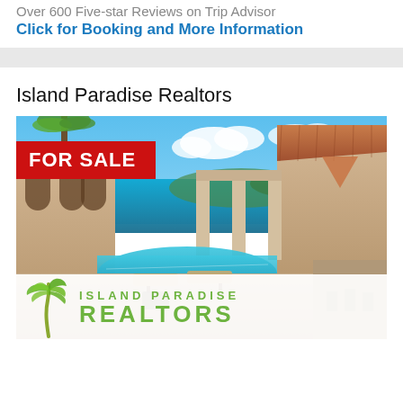Over 600 Five-star Reviews on Trip Advisor
Click for Booking and More Information
Island Paradise Realtors
[Figure (photo): Villa with infinity pool overlooking ocean, showing a Mediterranean-style property with a FOR SALE badge overlay and Island Paradise Realtors logo at the bottom]